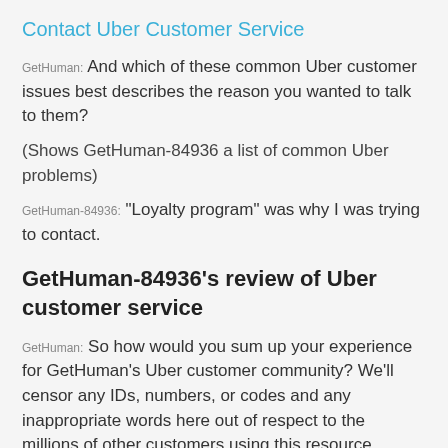Contact Uber Customer Service
GetHuman: And which of these common Uber customer issues best describes the reason you wanted to talk to them?
(Shows GetHuman-84936 a list of common Uber problems)
GetHuman-84936: "Loyalty program" was why I was trying to contact.
GetHuman-84936's review of Uber customer service
GetHuman: So how would you sum up your experience for GetHuman's Uber customer community? We'll censor any IDs, numbers, or codes and any inappropriate words here out of respect to the millions of other customers using this resource.